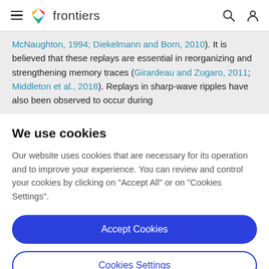frontiers (navigation bar with hamburger menu, logo, search and user icons)
McNaughton, 1994; Diekelmann and Born, 2010). It is believed that these replays are essential in reorganizing and strengthening memory traces (Girardeau and Zugaro, 2011; Middleton et al., 2018). Replays in sharp-wave ripples have also been observed to occur during
We use cookies
Our website uses cookies that are necessary for its operation and to improve your experience. You can review and control your cookies by clicking on "Accept All" or on "Cookies Settings".
Accept Cookies
Cookies Settings